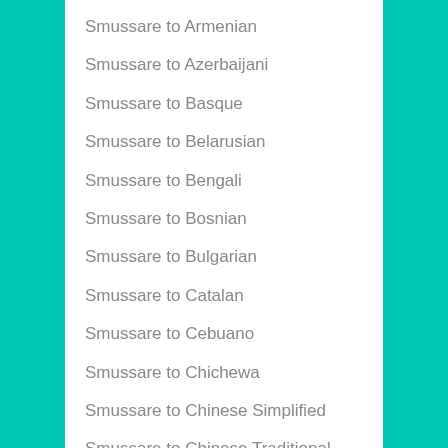Smussare to Armenian
Smussare to Azerbaijani
Smussare to Basque
Smussare to Belarusian
Smussare to Bengali
Smussare to Bosnian
Smussare to Bulgarian
Smussare to Catalan
Smussare to Cebuano
Smussare to Chichewa
Smussare to Chinese Simplified
Smussare to Chinese Traditional
Smussare to Corsican
Smussare to Croatian